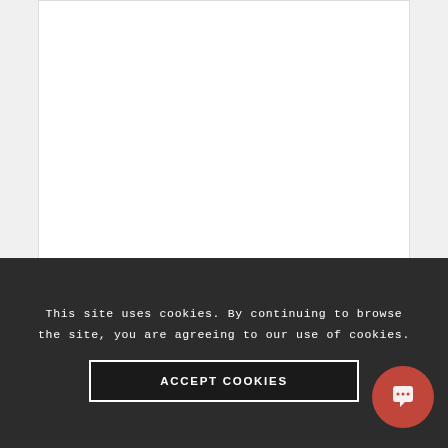[Figure (other): White product display area for CIRCLE T LM116 Easy Lock Miter Machine — product image region (blank/white in this crop)]
CIRCLE T LM116 Easy Lock Miter Machine
This site uses cookies. By continuing to browse the site, you are agreeing to our use of cookies.
ACCEPT COOKIES